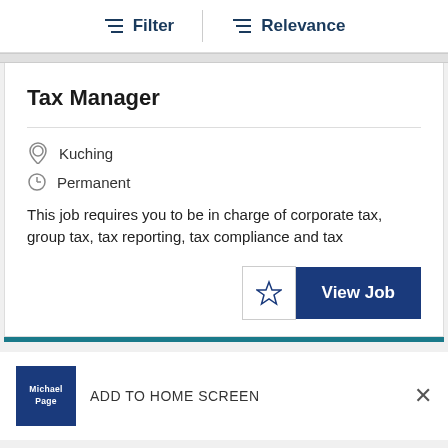Filter   Relevance
Tax Manager
Kuching
Permanent
This job requires you to be in charge of corporate tax, group tax, tax reporting, tax compliance and tax
ADD TO HOME SCREEN